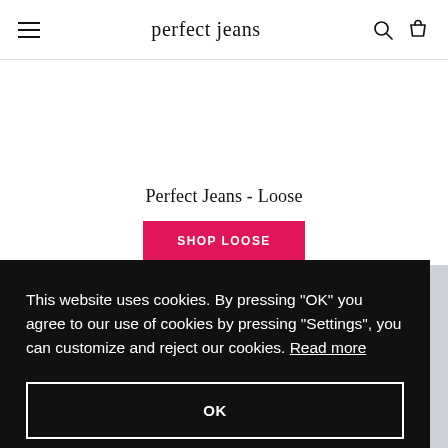perfect jeans
Perfect Jeans - Loose
SHOP LOOSE
This website uses cookies. By pressing "OK" you agree to our use of cookies by pressing "Settings", you can customize and reject our cookies. Read more
OK